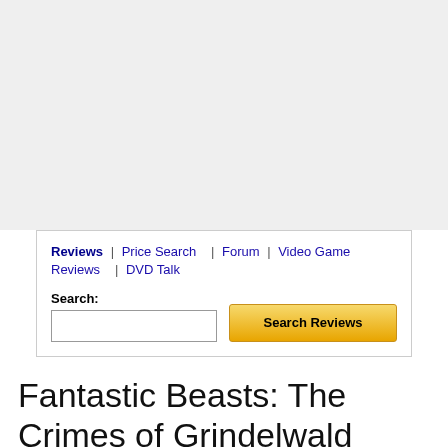[Figure (other): Gray placeholder area at the top of the page, approximately 230px tall]
Reviews | Price Search | Forum | Video Game Reviews | DVD Talk
Search:
Fantastic Beasts: The Crimes of Grindelwald
Warner Bros. // PG-13 // March 12, 2019
List Price: $34.98 [Buy now and save at Amazon]